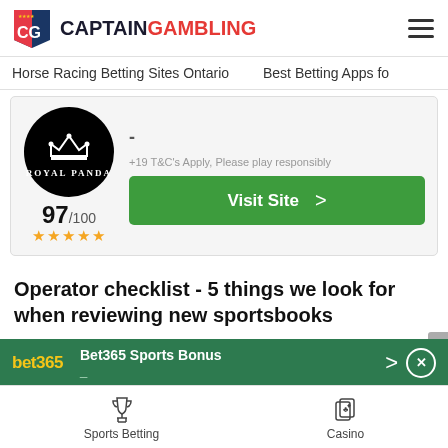CaptainGambling
Horse Racing Betting Sites Ontario   Best Betting Apps fo
[Figure (logo): Royal Panda circular black logo with crown icon and text ROYAL PANDA. Score: 97/100 with 5 gold stars.]
-
+19 T&C's Apply, Please play responsibly
[Figure (other): Green Visit Site button with chevron arrow]
Operator checklist - 5 things we look for when reviewing new sportsbooks
Here at CaptainGambling, we don't simply want to tell you what we believe the best new betting sites in
[Figure (logo): Bet365 Sports Bonus promotional banner in dark green with bet365 yellow logo, title Bet365 Sports Bonus, dash, right arrow and close X button]
[Figure (other): Sports Betting icon (trophy cup)]
[Figure (other): Casino icon (playing cards)]